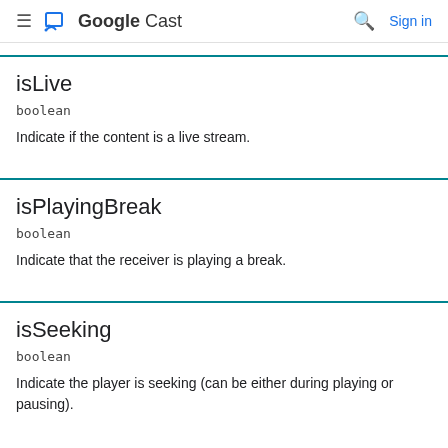Google Cast  Sign in
isLive
boolean
Indicate if the content is a live stream.
isPlayingBreak
boolean
Indicate that the receiver is playing a break.
isSeeking
boolean
Indicate the player is seeking (can be either during playing or pausing).